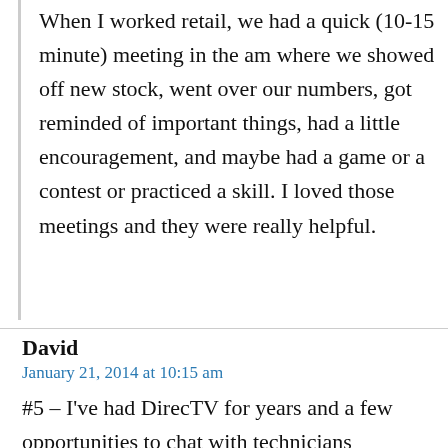When I worked retail, we had a quick (10-15 minute) meeting in the am where we showed off new stock, went over our numbers, got reminded of important things, had a little encouragement, and maybe had a game or a contest or practiced a skill. I loved those meetings and they were really helpful.
David
January 21, 2014 at 10:15 am
#5 – I've had DirecTV for years and a few opportunities to chat with technicians whenever they come out to my house (I'm assuming that's similar to the service you